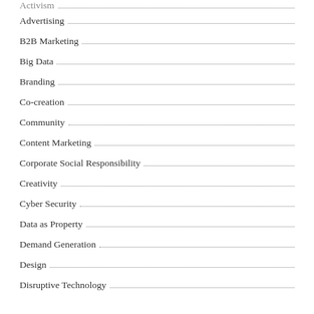Activism
Advertising
B2B Marketing
Big Data
Branding
Co-creation
Community
Content Marketing
Corporate Social Responsibility
Creativity
Cyber Security
Data as Property
Demand Generation
Design
Disruptive Technology